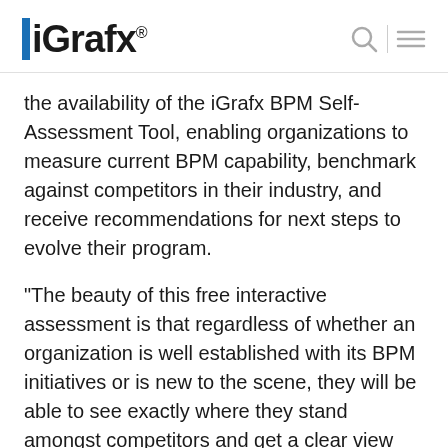iGrafx®
the availability of the iGrafx BPM Self-Assessment Tool, enabling organizations to measure current BPM capability, benchmark against competitors in their industry, and receive recommendations for next steps to evolve their program.
“The beauty of this free interactive assessment is that regardless of whether an organization is well established with its BPM initiatives or is new to the scene, they will be able to see exactly where they stand amongst competitors and get a clear view into what is necessary to elevate their program,” explained Gretchen Burthey, VP of Marketing and Product Management.  “Getting tangible value and solid results requires a holistic view of BPM.  The success of any BPM program lies not only with the